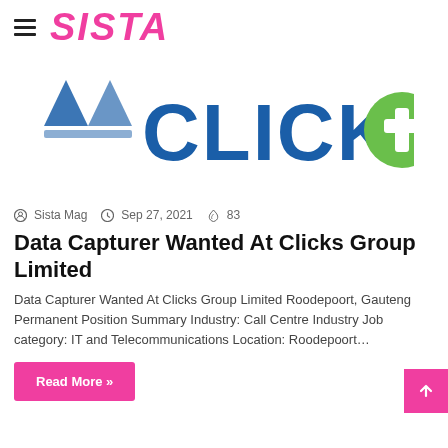SISTA
[Figure (logo): Clicks Group logo — large blue text 'CLICKS' with a blue and white geometric icon on the left and a green plus symbol on the right, on white background]
Sista Mag  Sep 27, 2021  83
Data Capturer Wanted At Clicks Group Limited
Data Capturer Wanted At Clicks Group Limited Roodepoort, Gauteng Permanent Position Summary Industry: Call Centre Industry Job category: IT and Telecommunications Location: Roodepoort…
Read More »